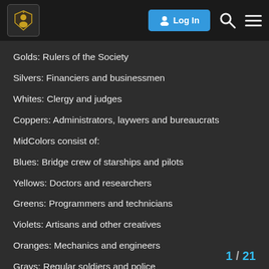Imperial Conflict — Log In
Golds: Rulers of the Society
Silvers: Financiers and businessmen
Whites: Clergy and judges
Coppers: Administrators, laywers and bureaucrats
MidColors consist of:
Blues: Bridge crew of starships and pilots
Yellows: Doctors and researchers
Greens: Programmers and technicians
Violets: Artisans and other creatives
Oranges: Mechanics and engineers
Grays: Regular soldiers and police
1 / 21